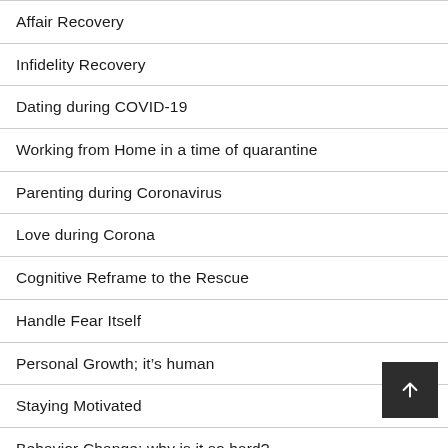Affair Recovery
Infidelity Recovery
Dating during COVID-19
Working from Home in a time of quarantine
Parenting during Coronavirus
Love during Corona
Cognitive Reframe to the Rescue
Handle Fear Itself
Personal Growth; it's human
Staying Motivated
Behavior Change: why is it so hard?